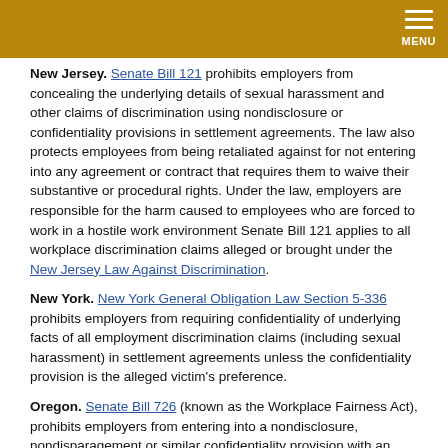MENU
New Jersey. Senate Bill 121 prohibits employers from concealing the underlying details of sexual harassment and other claims of discrimination using nondisclosure or confidentiality provisions in settlement agreements. The law also protects employees from being retaliated against for not entering into any agreement or contract that requires them to waive their substantive or procedural rights. Under the law, employers are responsible for the harm caused to employees who are forced to work in a hostile work environment Senate Bill 121 applies to all workplace discrimination claims alleged or brought under the New Jersey Law Against Discrimination.
New York. New York General Obligation Law Section 5-336 prohibits employers from requiring confidentiality of underlying facts of all employment discrimination claims (including sexual harassment) in settlement agreements unless the confidentiality provision is the alleged victim's preference.
Oregon. Senate Bill 726 (known as the Workplace Fairness Act), prohibits employers from entering into a nondisclosure, nondisparagement or similar confidentiality provision with an employee or applicant that prevents the individual from discussing discrimination or sexual assault that occurred at work or between employees. Employers may enter into a settlement or severance agreement that contains a nondisclosure or no-rehire provision in two circumstances: